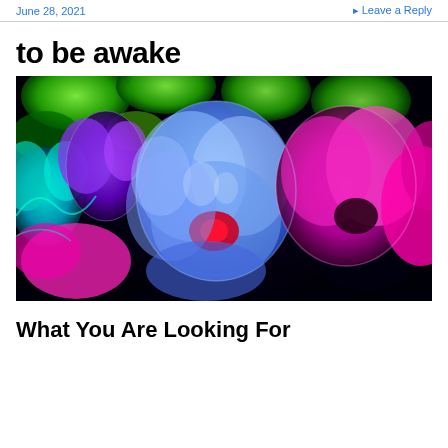June 28, 2021   Leave a Reply
to be awake
[Figure (photo): Psychedelic/UV-filtered photo of flowers (petunias or similar) with vivid blue, purple, magenta, and green colors against a dark background.]
What You Are Looking For